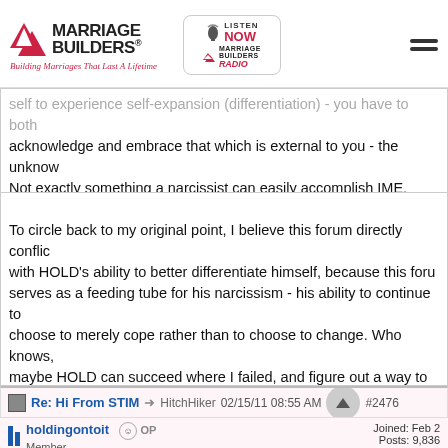Marriage Builders® - Building Marriages That Last A Lifetime
self to experience self-expansion (differentiation) - you have to both acknowledge and embrace that which is external to you - the unknown. Not exactly something a narcissist can easily accomplish IME. Herculean efforts are required for narcissists to better differentiate themselves.
To circle back to my original point, I believe this forum directly conflicts with HOLD's ability to better differentiate himself, because this forum serves as a feeding tube for his narcissism - his ability to continue to choose to merely cope rather than to choose to change. Who knows, maybe HOLD can succeed where I failed, and figure out a way to use the MB forums to effect positive change rather than to merely cope. I couldn't do it personally, which is why I left for several years and am now only back in a limited capacity. HOLD, what say you?
Re: Hi From STIM → HitchHiker 02/15/11 08:55 AM #2476
holdingontoit OP Member  Joined: Feb 20 Posts: 9,836